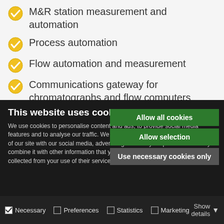M&R station measurement and automation
Process automation
Flow automation and measurement
Communications gateway for chromatographs and flow computers
This website uses cookies
We use cookies to personalise content and ads, to provide social media features and to analyse our traffic. We also share information about your use of our site with our social media, advertising and analytics partners who may combine it with other information that you've provided to them or that they've collected from your use of their services.
Allow all cookies
Allow selection
Use necessary cookies only
Necessary  Preferences  Statistics  Marketing  Show details